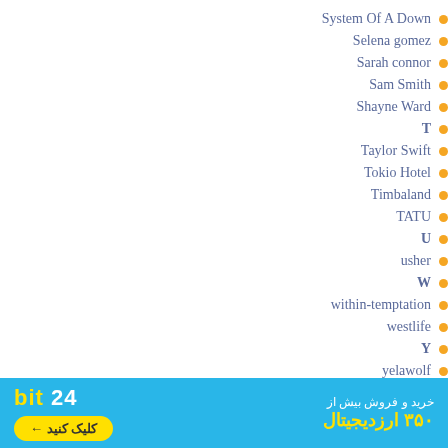System Of A Down
Selena gomez
Sarah connor
Sam Smith
Shayne Ward
T
Taylor Swift
Tokio Hotel
Timbaland
TATU
U
usher
W
within-temptation
westlife
Y
yelawolf
#
Cent 50
[Figure (screenshot): Ad banner for bit24 cryptocurrency exchange with yellow button labeled 'کلیک کنید' and Persian text about buying/selling]